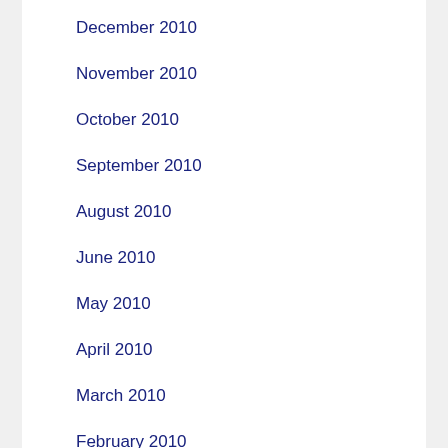December 2010
November 2010
October 2010
September 2010
August 2010
June 2010
May 2010
April 2010
March 2010
February 2010